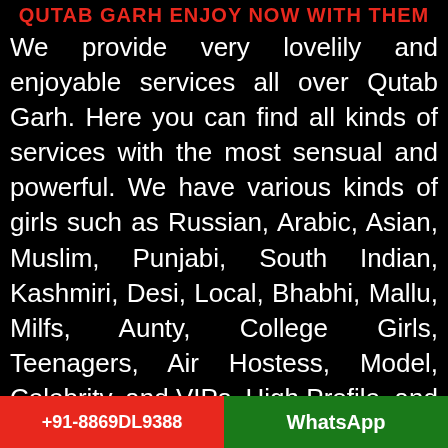QUTAB GARH ENJOY NOW WITH THEM
We provide very lovelily and enjoyable services all over Qutab Garh. Here you can find all kinds of services with the most sensual and powerful. We have various kinds of girls such as Russian, Arabic, Asian, Muslim, Punjabi, South Indian, Kashmiri, Desi, Local, Bhabhi, Mallu, Milfs, Aunty, College Girls, Teenagers, Air Hostess, Model, Celebrity, and VIPs, High Profile, and Italian. All varieties you can get from here and can enjoy a lot with them. We have too much quantities of these in each category girls. We have appro× 345 trained
+91-8869DL9388   WhatsApp